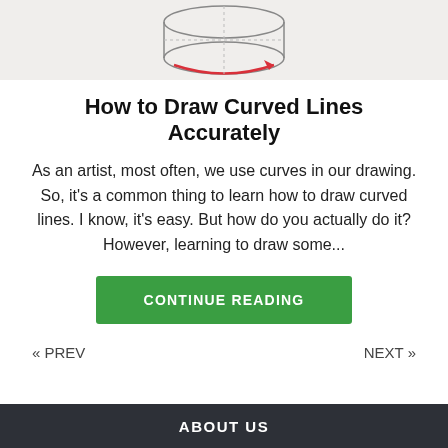[Figure (illustration): Partial illustration showing curved lines drawing tutorial — sketch of a cylinder with red curved arrows indicating direction of stroke]
How to Draw Curved Lines Accurately
As an artist, most often, we use curves in our drawing. So, it's a common thing to learn how to draw curved lines. I know, it's easy. But how do you actually do it? However, learning to draw some...
CONTINUE READING
« PREV
NEXT »
ABOUT US